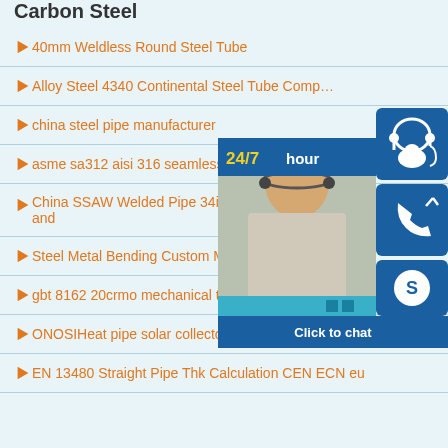Carbon Steel
40mm Weldless Round Steel Tube
Alloy Steel 4340 Continental Steel Tube Comp…
china steel pipe manufacturer
asme sa312 aisi 316 seamless stainl…
China SSAW Welded Pipe 34inch A… and
Steel Metal Bending Custom Meta…
gbt 8162 20crmo mechanical tube
ONOSIHeat pipe solar collector CPC solar collector
EN 13480 Straight Pipe Thk Calculation CEN ECN eu
[Figure (screenshot): Customer service chat widget showing a 24/7 hour banner, a photo of a smiling woman with headset, three blue icon buttons (headset, phone, Skype), and a 'Click to chat' bar]